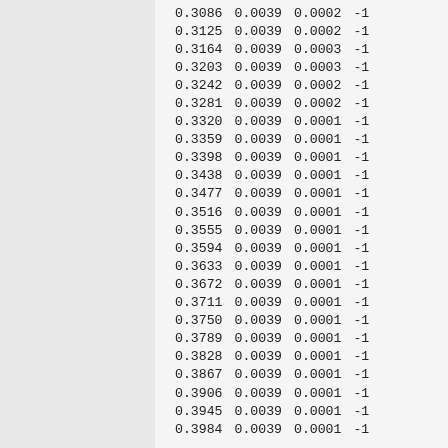| 0.3086 | 0.0039 | 0.0002 | -1 |
| 0.3125 | 0.0039 | 0.0002 | -1 |
| 0.3164 | 0.0039 | 0.0003 | -1 |
| 0.3203 | 0.0039 | 0.0003 | -1 |
| 0.3242 | 0.0039 | 0.0002 | -1 |
| 0.3281 | 0.0039 | 0.0002 | -1 |
| 0.3320 | 0.0039 | 0.0001 | -1 |
| 0.3359 | 0.0039 | 0.0001 | -1 |
| 0.3398 | 0.0039 | 0.0001 | -1 |
| 0.3438 | 0.0039 | 0.0001 | -1 |
| 0.3477 | 0.0039 | 0.0001 | -1 |
| 0.3516 | 0.0039 | 0.0001 | -1 |
| 0.3555 | 0.0039 | 0.0001 | -1 |
| 0.3594 | 0.0039 | 0.0001 | -1 |
| 0.3633 | 0.0039 | 0.0001 | -1 |
| 0.3672 | 0.0039 | 0.0001 | -1 |
| 0.3711 | 0.0039 | 0.0001 | -1 |
| 0.3750 | 0.0039 | 0.0001 | -1 |
| 0.3789 | 0.0039 | 0.0001 | -1 |
| 0.3828 | 0.0039 | 0.0001 | -1 |
| 0.3867 | 0.0039 | 0.0001 | -1 |
| 0.3906 | 0.0039 | 0.0001 | -1 |
| 0.3945 | 0.0039 | 0.0001 | -1 |
| 0.3984 | 0.0039 | 0.0001 | -1 |